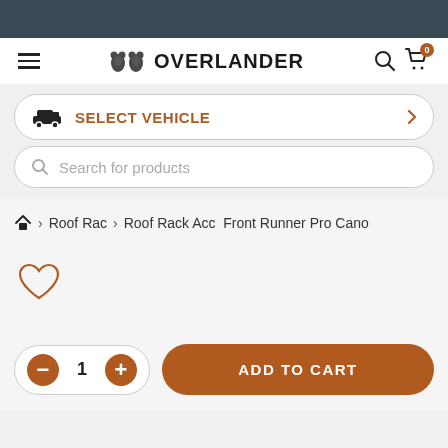OVERLANDER
SELECT VEHICLE
Search for products
Home > Roof Rac > Roof Rack Acc  Front Runner Pro Cano
[Figure (illustration): Heart/wishlist icon]
1
ADD TO CART